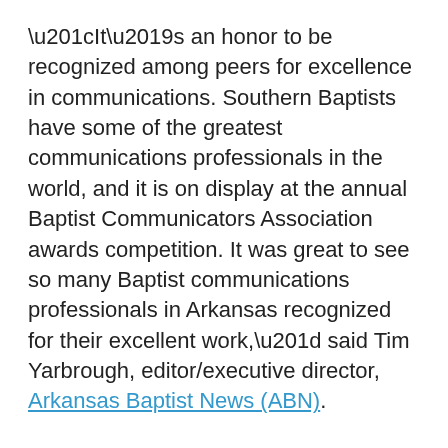“It’s an honor to be recognized among peers for excellence in communications. Southern Baptists have some of the greatest communications professionals in the world, and it is on display at the annual Baptist Communicators Association awards competition. It was great to see so many Baptist communications professionals in Arkansas recognized for their excellent work,” said Tim Yarbrough, editor/executive director, Arkansas Baptist News (ABN).
The ABN took home four awards, with Caleb Yarbrough, associate editor, receiving two